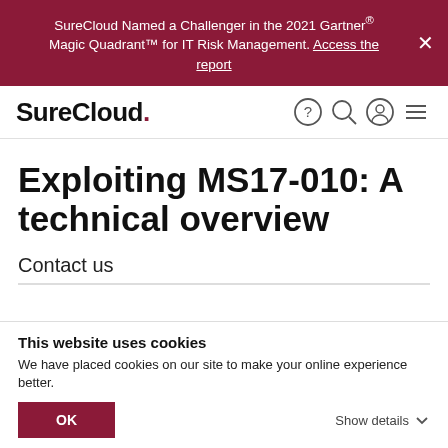SureCloud Named a Challenger in the 2021 Gartner® Magic Quadrant™ for IT Risk Management. Access the report
[Figure (logo): SureCloud logo with red period]
Exploiting MS17-010: A technical overview
Contact us
This website uses cookies
We have placed cookies on our site to make your online experience better.
OK
Show details